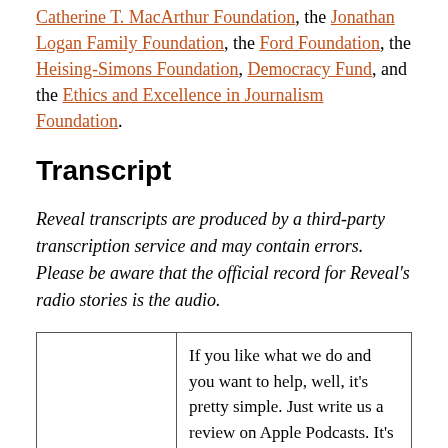Catherine T. MacArthur Foundation, the Jonathan Logan Family Foundation, the Ford Foundation, the Heising-Simons Foundation, Democracy Fund, and the Ethics and Excellence in Journalism Foundation.
Transcript
Reveal transcripts are produced by a third-party transcription service and may contain errors. Please be aware that the official record for Reveal's radio stories is the audio.
|  | If you like what we do and you want to help, well, it's pretty simple. Just write us a review on Apple Podcasts. It's easy |